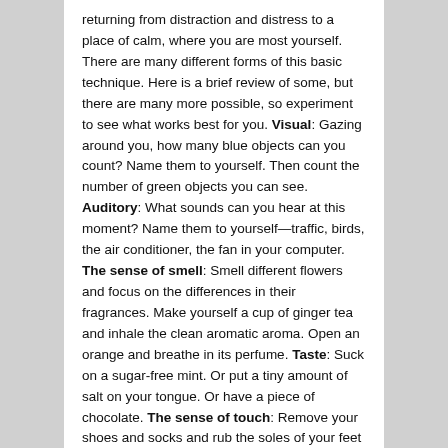returning from distraction and distress to a place of calm, where you are most yourself. There are many different forms of this basic technique. Here is a brief review of some, but there are many more possible, so experiment to see what works best for you. Visual: Gazing around you, how many blue objects can you count? Name them to yourself. Then count the number of green objects you can see. Auditory: What sounds can you hear at this moment? Name them to yourself—traffic, birds, the air conditioner, the fan in your computer. The sense of smell: Smell different flowers and focus on the differences in their fragrances. Make yourself a cup of ginger tea and inhale the clean aromatic aroma. Open an orange and breathe in its perfume. Taste: Suck on a sugar-free mint. Or put a tiny amount of salt on your tongue. Or have a piece of chocolate. The sense of touch: Remove your shoes and socks and rub the soles of your feet against the carpet. Stroke a soft blanket or piece of velvet gently across your face. While seated in a comfortable chair relax and feel